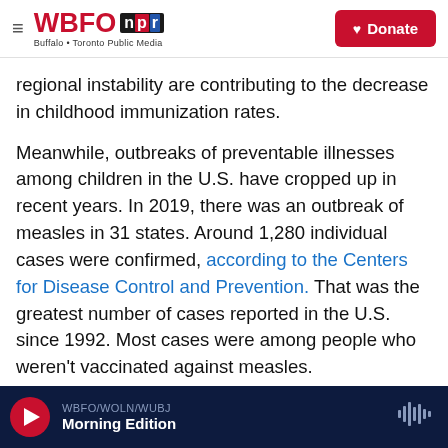WBFO npr — Buffalo + Toronto Public Media | Donate
regional instability are contributing to the decrease in childhood immunization rates.
Meanwhile, outbreaks of preventable illnesses among children in the U.S. have cropped up in recent years. In 2019, there was an outbreak of measles in 31 states. Around 1,280 individual cases were confirmed, according to the Centers for Disease Control and Prevention. That was the greatest number of cases reported in the U.S. since 1992. Most cases were among people who weren't vaccinated against measles.
WBFO/WOLN/WUBJ — Morning Edition